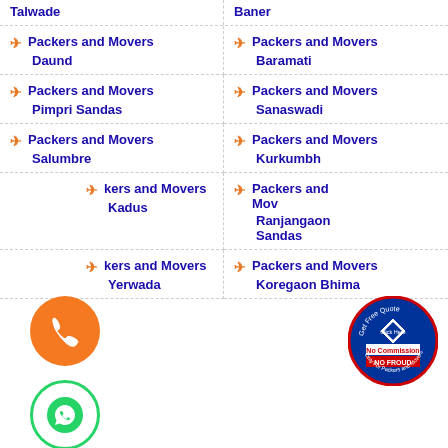Talwade
Baner
Packers and Movers Daund
Packers and Movers Baramati
Packers and Movers Pimpri Sandas
Packers and Movers Sanaswadi
Packers and Movers Salumbre
Packers and Movers Kurkumbh
Packers and Movers Kadus
Packers and Movers Ranjangaon Sandas
Packers and Movers Yerwada
Packers and Movers Koregaon Bhima